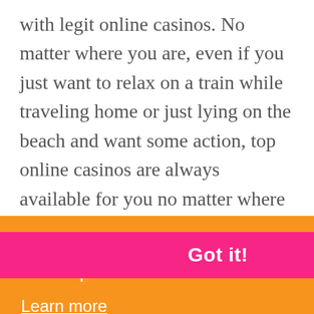with legit online casinos. No matter where you are, even if you just want to relax on a train while traveling home or just lying on the beach and want some action, top online casinos are always available for you no matter where you are, and they are open 24/7.

All of the biggest gambling site operators have their websites optimized for all mobile devices, which assures that you can enjoy games whenever you
This website uses cookies to ensure you get the best experience on our website.
Learn more
Got it!
visit
ack or
e will
take you more time than that.